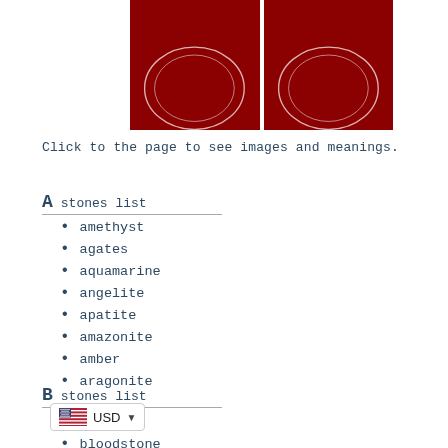[Figure (photo): Two dark red/crimson images side by side, each showing white circular/oval line art on a dark red background, partially cropped at top. Stone or gemstone catalog images.]
Click to the page to see images and meanings.
A  stones list
amethyst
agates
aquamarine
angelite
apatite
amazonite
amber
aragonite
B  stones list
[Figure (infographic): USD currency selector badge with US flag icon and dropdown arrow]
bloodstone